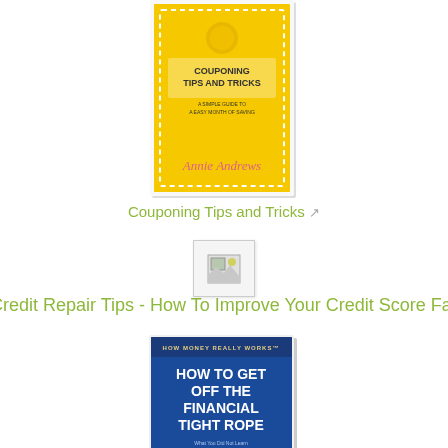[Figure (illustration): Book cover for Couponing Tips and Tricks by Annie Andrews, yellow cover with dotted border]
Couponing Tips and Tricks
[Figure (illustration): Broken/missing image placeholder icon]
Credit Repair Tips - How To Improve Your Credit Score Fast!
[Figure (illustration): Book cover for How To Get Off The Financial Tight Rope by James Rudd, blue cover with man on tightrope]
How To Get Off The Financial Tight Rope